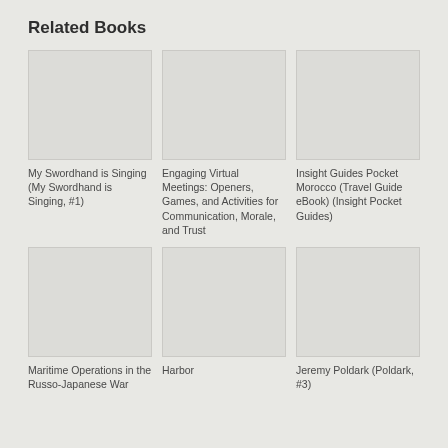Related Books
[Figure (illustration): Blank book cover placeholder for My Swordhand is Singing]
My Swordhand is Singing (My Swordhand is Singing, #1)
[Figure (illustration): Blank book cover placeholder for Engaging Virtual Meetings]
Engaging Virtual Meetings: Openers, Games, and Activities for Communication, Morale, and Trust
[Figure (illustration): Blank book cover placeholder for Insight Guides Pocket Morocco]
Insight Guides Pocket Morocco (Travel Guide eBook) (Insight Pocket Guides)
[Figure (illustration): Blank book cover placeholder for Maritime Operations in the Russo-Japanese War]
Maritime Operations in the Russo-Japanese War
[Figure (illustration): Blank book cover placeholder for Harbor]
Harbor
[Figure (illustration): Blank book cover placeholder for Jeremy Poldark]
Jeremy Poldark (Poldark, #3)